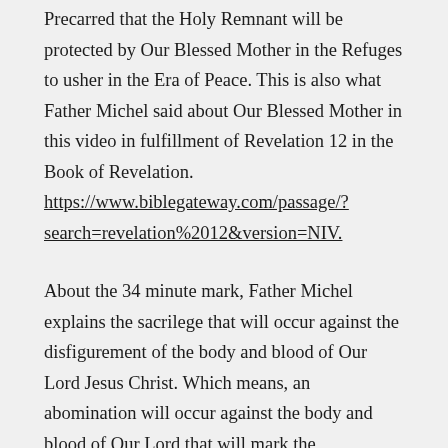Precarred that the Holy Remnant will be protected by Our Blessed Mother in the Refuges to usher in the Era of Peace. This is also what Father Michel said about Our Blessed Mother in this video in fulfillment of Revelation 12 in the Book of Revelation. https://www.biblegateway.com/passage/?search=revelation%2012&version=NIV.
About the 34 minute mark, Father Michel explains the sacrilege that will occur against the disfigurement of the body and blood of Our Lord Jesus Christ. Which means, an abomination will occur against the body and blood of Our Lord that will mark the